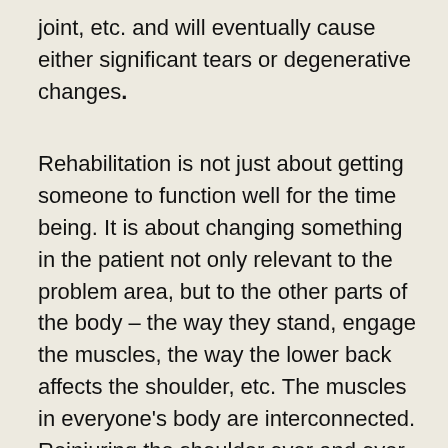joint, etc. and will eventually cause either significant tears or degenerative changes.
Rehabilitation is not just about getting someone to function well for the time being. It is about changing something in the patient not only relevant to the problem area, but to the other parts of the body – the way they stand, engage the muscles, the way the lower back affects the shoulder, etc. The muscles in everyone's body are interconnected. Reinjuring the shoulder over and over again and bringing the shoulder forward constantly is going to indirectly cause a lower back problem. That linkage is often missed in the industry, altogether. Quite honestly, I think musicians who went through formal classical training at places like the Julliard School and other major music schools had quite an extensive education